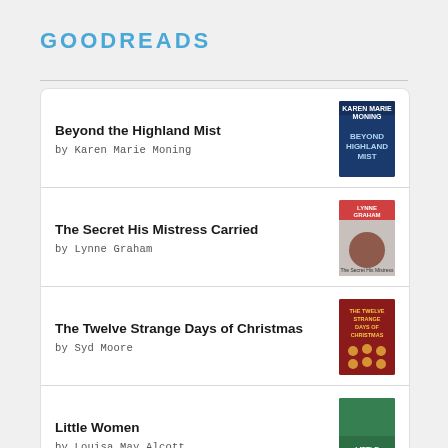GOODREADS
Beyond the Highland Mist by Karen Marie Moning
The Secret His Mistress Carried by Lynne Graham
The Twelve Strange Days of Christmas by Syd Moore
Little Women by Louisa May Alcott